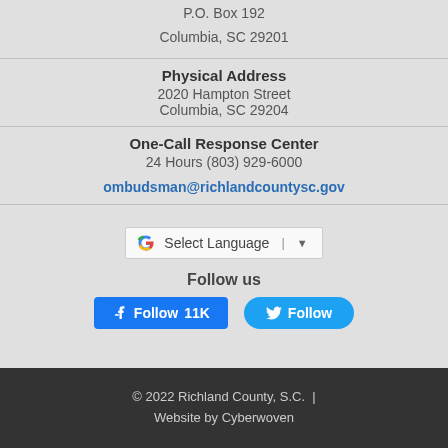P.O. Box 192
Columbia, SC 29201
Physical Address
2020 Hampton Street
Columbia, SC 29204
One-Call Response Center
24 Hours (803) 929-6000
ombudsman@richlandcountysc.gov
[Figure (other): Google Translate widget with 'Select Language' dropdown]
Follow us
[Figure (other): Facebook Follow button showing 11K followers and Twitter Follow button]
© 2022 Richland County, S.C. | Website by Cyberwoven